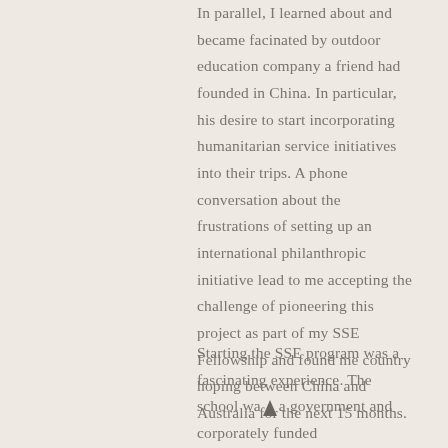In parallel, I learned about and became facinated by outdoor education company a friend had founded in China. In particular, his desire to start incorporating humanitarian service initiatives into their trips. A phone conversation about the frustrations of setting up an international philanthropic initiative lead to me accepting the challenge of pioneering this project as part of my SSE Fellowship and found me country hoping between China and Australia for the next 15 months.
Starting the SSE program was a fascinating experience. The school was a government and corporately funded